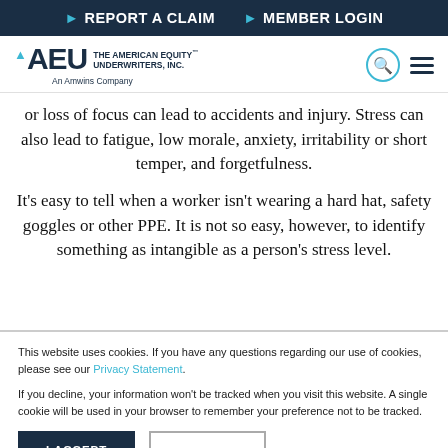▶ REPORT A CLAIM  ▶ MEMBER LOGIN
[Figure (logo): AEU - The American Equity Underwriters, Inc. An Amwins Company logo]
or loss of focus can lead to accidents and injury. Stress can also lead to fatigue, low morale, anxiety, irritability or short temper, and forgetfulness.
It's easy to tell when a worker isn't wearing a hard hat, safety goggles or other PPE. It is not so easy, however, to identify something as intangible as a person's stress level.
This website uses cookies. If you have any questions regarding our use of cookies, please see our Privacy Statement.
If you decline, your information won't be tracked when you visit this website. A single cookie will be used in your browser to remember your preference not to be tracked.
I ACCEPT  |  I REFUSE